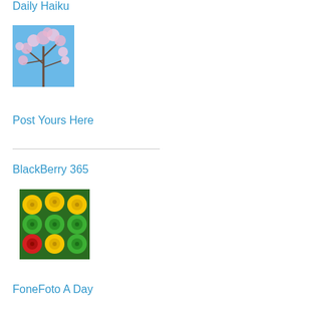Daily Haiku
[Figure (photo): Cherry blossom tree with pink flowers against a blue sky]
Post Yours Here
[Figure (other): Horizontal divider line]
BlackBerry 365
[Figure (photo): Colorful bell peppers (yellow, green, red) viewed from above]
FoneFoto A Day